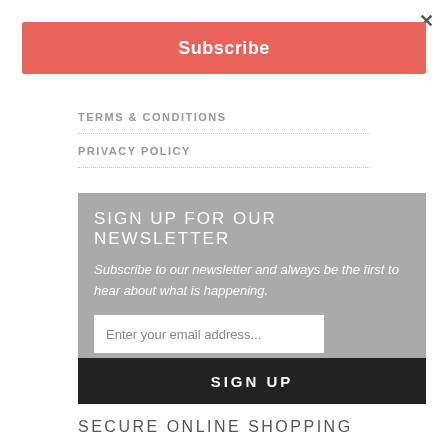Subscribe
TERMS & CONDITIONS
PRIVACY POLICY
SIGN UP FOR OUR NEWSLETTER
Subscribe to our newsletter and always be the first to hear about what is happening.
Enter your email address...
SIGN UP
SECURE ONLINE SHOPPING
[Figure (logo): Payment logos: PayPal, VISA, Mastercard, eWay]